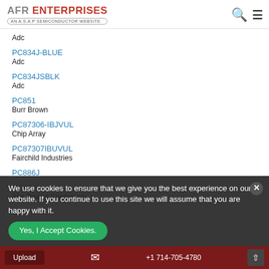AFR ENTERPRISES - AN A.S.A.P SEMICONDUCTOR WEBSITE
Adc
PC834J-BLUE
Adc
PC834JSBLK
Adc
PC851
Burr Brown
PC87306-IBJVUL
Chip Array
PC87307IBUVUL
Fairchild Industries
PC886J
RC999
Abc Taiwan Electronics
We use cookies to ensure that we give you the best experience on our website. If you continue to use this site we will assume that you are happy with it.
Yes, I Accept Cookies.
Upload   +1 714-705-4780